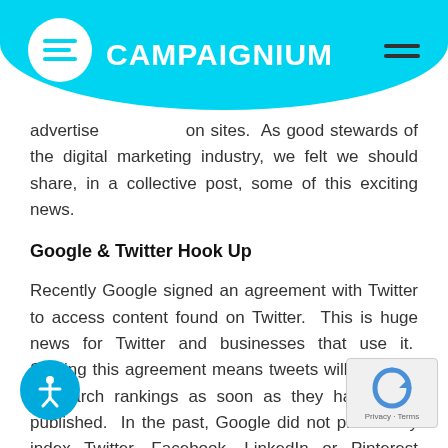CAMPAIGNIUM
advertise on their sites. As good stewards of the digital marketing industry, we felt we should share, in a collective post, some of this exciting news.
Google & Twitter Hook Up
Recently Google signed an agreement with Twitter to access content found on Twitter. This is huge news for Twitter and businesses that use it. Signing this agreement means tweets will show up in search rankings as soon as they have been published. In the past, Google did not proactively index Twitter, Facebook, LinkedIn or Pinterest posts. Signing